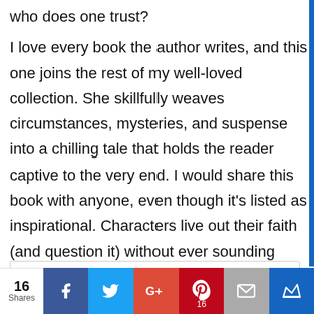who does one trust?
I love every book the author writes, and this one joins the rest of my well-loved collection. She skillfully weaves circumstances, mysteries, and suspense into a chilling tale that holds the reader captive to the very end. I would share this book with anyone, even though it’s listed as inspirational. Characters live out their faith (and question it) without ever sounding churchy, sappy, or fake.
You won’t want to miss this
16 Shares | Facebook | Twitter | G+ | Pinterest 16 | Email | Crown